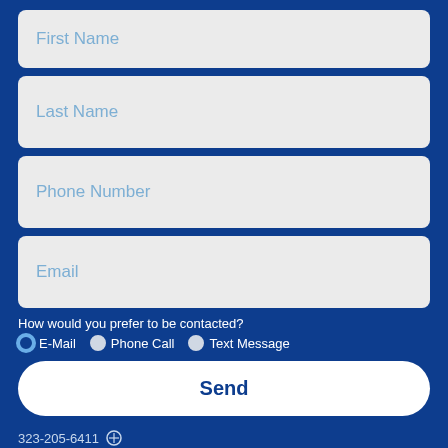First Name
Last Name
Phone Number
Email
How would you prefer to be contacted?
E-Mail
Phone Call
Text Message
Send
323-205-6411
25876 The Old Road #418